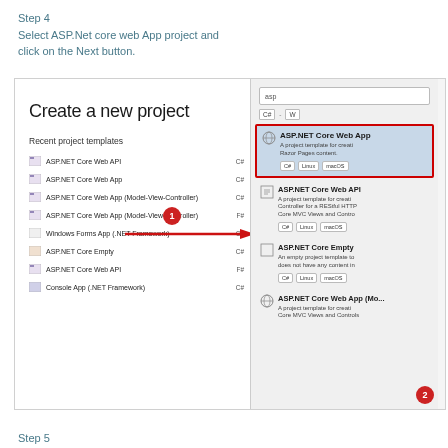Step 4
Select ASP.Net core web App project and click on the Next button.
[Figure (screenshot): Visual Studio 'Create a new project' dialog showing project templates on the left and search results on the right. A red circle labeled '1' points to 'ASP.NET Core Web App' with a red arrow. The 'ASP.NET Core Web App' result card is highlighted with a red border on the right panel. A red circle labeled '2' appears in the bottom right corner.]
Step 5